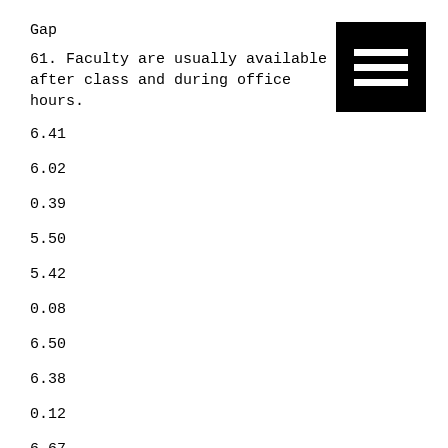Gap
61. Faculty are usually available after class and during office hours.
6.41
6.02
0.39
5.50
5.42
0.08
6.50
6.38
0.12
6.67
6.29
0.38
[Figure (other): Black square icon with three horizontal white bars (hamburger/menu icon)]